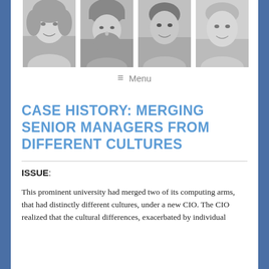[Figure (photo): Four black-and-white headshot photos of people in a row: a woman with light hair, a man wearing a turban with a beard, a woman with short dark hair, and an older woman with short hair.]
≡ Menu
CASE HISTORY: MERGING SENIOR MANAGERS FROM DIFFERENT CULTURES
ISSUE:
This prominent university had merged two of its computing arms, that had distinctly different cultures, under a new CIO. The CIO realized that the cultural differences, exacerbated by individual